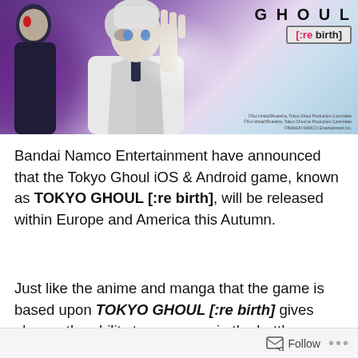[Figure (illustration): Promotional banner for Tokyo Ghoul [:re birth] mobile game showing two anime characters — a dark-clothed figure on the left and a white-coated character on the right making a hand gesture — with the game logo 'GHOUL [:re birth]' in the upper right corner and copyright text at the bottom right.]
Bandai Namco Entertainment have announced that the Tokyo Ghoul iOS & Android game, known as TOKYO GHOUL [:re birth], will be released within Europe and America this Autumn.
Just like the anime and manga that the game is based upon TOKYO GHOUL [:re birth] gives players the ability to wage war in the battle between Ghouls and Humans; this time anywhere and at anytime. This iOS & Android
Follow ···